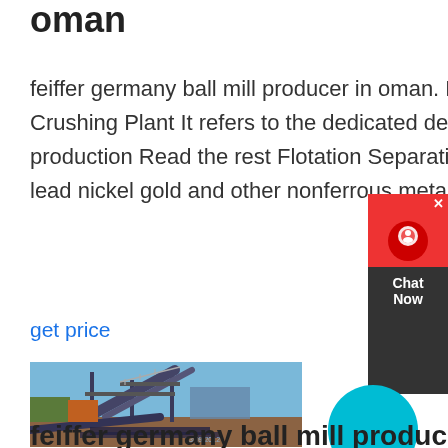oman
feiffer germany ball mill producer in oman. NextFeiffer Germany Ball Mill Producer Stone Crushing Plant It refers to the dedicated device used for the construction sand and stone production Read the rest Flotation Separation Line It is mainly applied to separate copper zinc lead nickel gold and other nonferrous metals...We are a professional mining machinery
get price
[Figure (photo): Mining/crushing plant machinery with conveyor belts on a construction site, dated 13/09/2012]
feiffer germany ball mill producer